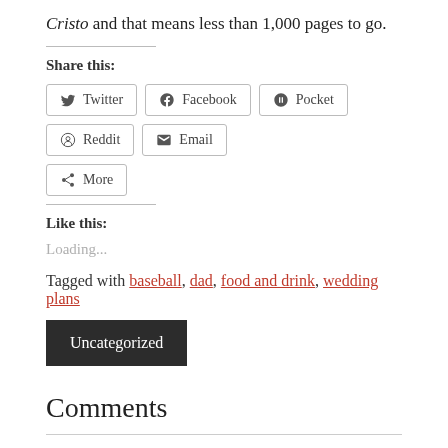Cristo and that means less than 1,000 pages to go.
Share this:
Twitter Facebook Pocket Reddit Email More
Like this:
Loading...
Tagged with baseball, dad, food and drink, wedding plans
Uncategorized
Comments